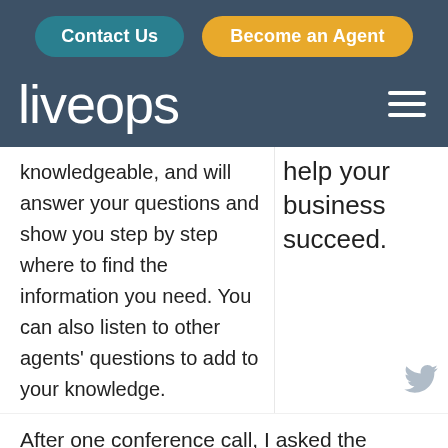Contact Us | Become an Agent
[Figure (logo): Liveops logo in white text on dark blue background with hamburger menu icon]
knowledgeable, and will answer your questions and show you step by step where to find the information you need. You can also listen to other agents’ questions to add to your knowledge.
help your business succeed.
After one conference call, I asked the woman
Want to become a Liveops agent? Find Out How & Apply →